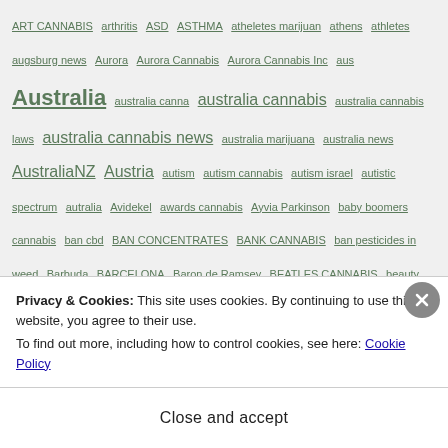ART CANNABIS arthritis ASD ASTHMA atheletes marijuan athens athletes augsburg news Aurora Aurora Cannabis Aurora Cannabis Inc aus Australia australia canna australia cannabis australia cannabis laws australia cannabis news australia marijuana australia news AustraliaNZ Austria autism autism cannabis autism israel autistic spectrum autralia Avidekel awards cannabis Ayvia Parkinson baby boomers cannabis ban cbd BAN CONCENTRATES BANK CANNABIS ban pesticides in weed Barbuda BARCELONA Baron de Ramsey BEATLES CANNABIS beauty Beauty Care BEBOE's Calming CBD Blend Becky Lynn Bedrocan BEDROCAN BV beer Belgium belgium news Ben Griffiths Bernalillo Bernard Noble berr marijuana BEST BEST
Privacy & Cookies: This site uses cookies. By continuing to use this website, you agree to their use.
To find out more, including how to control cookies, see here: Cookie Policy
Close and accept